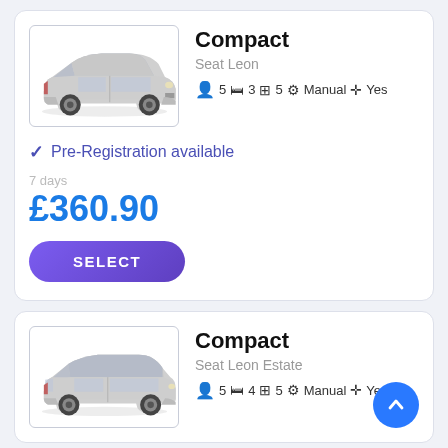Compact
Seat Leon
5  3  5  Manual  Yes
✓ Pre-Registration available
7 days
£360.90
SELECT
[Figure (photo): Silver Seat Leon hatchback, front three-quarter view, grey car on white background]
Compact
Seat Leon Estate
5  4  5  Manual  Yes
[Figure (photo): Silver Seat Leon Estate, front three-quarter view, grey car on white background]